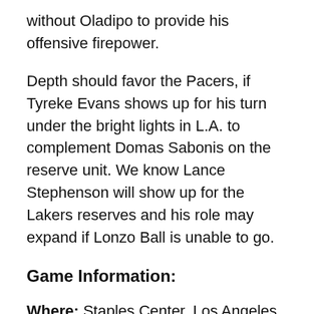without Oladipo to provide his offensive firepower.
Depth should favor the Pacers, if Tyreke Evans shows up for his turn under the bright lights in L.A. to complement Domas Sabonis on the reserve unit. We know Lance Stephenson will show up for the Lakers reserves and his role may expand if Lonzo Ball is unable to go.
Game Information:
Where: Staples Center, Los Angeles, CA